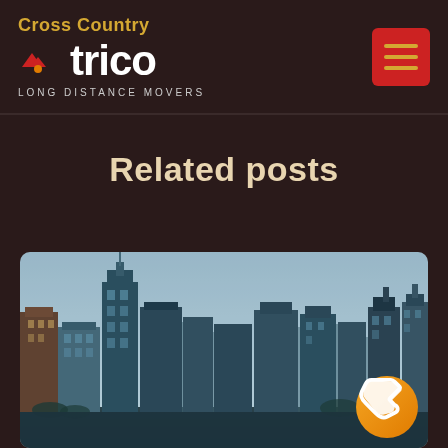Cross Country trico LONG DISTANCE MOVERS
Related posts
[Figure (photo): City skyline photograph showing a dense urban downtown with tall skyscrapers against a light sky, teal/blue toned image. A yellow phone button is overlaid in the bottom-right corner.]